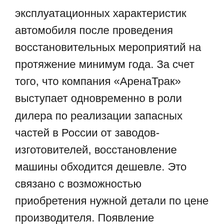эксплуатационных характеристик автомобиля после проведения восстановительных мероприятий на протяжение минимум года. За счет того, что компания «АренаТрак» выступает одновременно в роли дилера по реализации запасных частей в России от заводов-изготовителей, восстановление машины обходится дешевле. Это связано с возможностью приобретения нужной детали по цене производителя. Появление первичных признаков – первый намек на замену вышедшей из строя детали. При этом, все запчасти устанавливаются на грузовик только оригинального изготовления или выполняется поиск надежных аналогов. Гарантийное и постгарантийное обслуживание автомобилей IVECO. Перед установкой двигателя обратно на раму мы